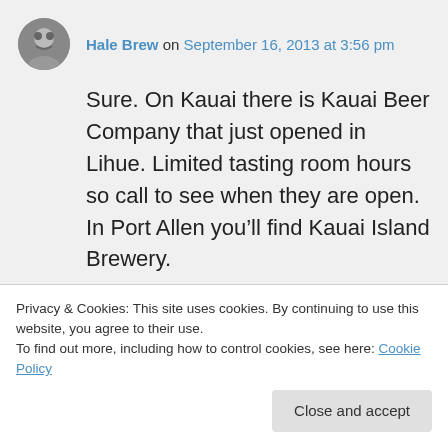Hale Brew on September 16, 2013 at 3:56 pm
Sure. On Kauai there is Kauai Beer Company that just opened in Lihue. Limited tasting room hours so call to see when they are open. In Port Allen you’ll find Kauai Island Brewery.

On Oahu, unfortunately there are no breweries open. Honolulu Beerworks is
Privacy & Cookies: This site uses cookies. By continuing to use this website, you agree to their use.
To find out more, including how to control cookies, see here: Cookie Policy
Close and accept